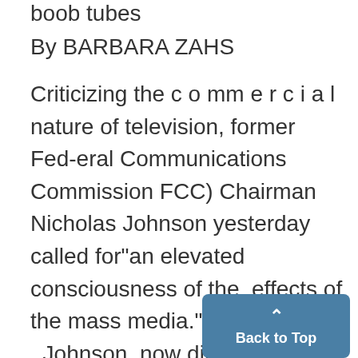boob tubes
By BARBARA ZAHS
Criticizing the c o mm e r c i a l nature of television, former Federal Communications Commission FCC) Chairman Nicholas Johnson yesterday called for"an elevated consciousness of the, effects of the mass media." . Johnson, now director of the National Citizens Communications ' lobby, told a Future Worlds audi-l anr a HttAn vp ct ardn that-